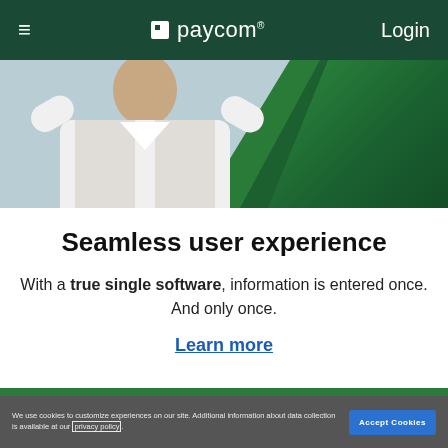≡  paycom®  Login
[Figure (photo): Person in white lab coat with arms raised, green diagonal element in background]
Seamless user experience
With a true single software, information is entered once. And only once.
Learn more
We use cookies to customize experiences on our site. Additional information about data collection is available at our privacy policy.